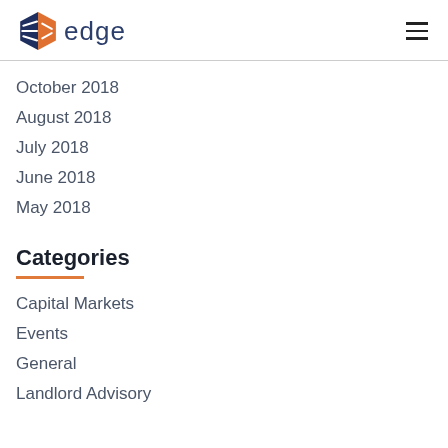edge
October 2018
August 2018
July 2018
June 2018
May 2018
Categories
Capital Markets
Events
General
Landlord Advisory